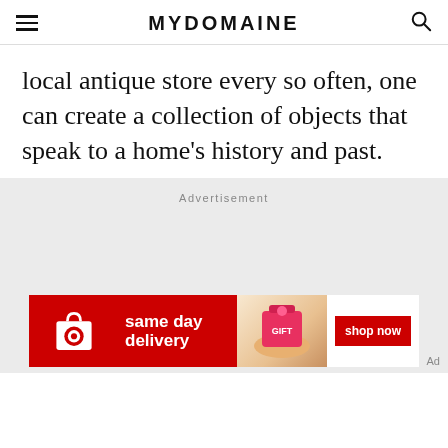MYDOMAINE
local antique store every so often, one can create a collection of objects that speak to a home's history and past.
Advertisement
[Figure (other): Target advertisement banner: same day delivery, shop now button, product image]